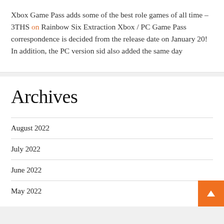Xbox Game Pass adds some of the best role games of all time – 3THS on Rainbow Six Extraction Xbox / PC Game Pass correspondence is decided from the release date on January 20! In addition, the PC version sid also added the same day
Archives
August 2022
July 2022
June 2022
May 2022